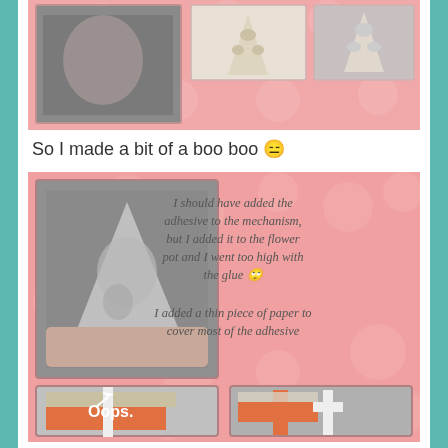[Figure (photo): Top collage showing three photos of a textured flower pot / craft item with embossed pattern, on pink bubble background]
So I made a bit of a boo boo 😑
[Figure (photo): Pink bubble background collage with four craft photos: top-left shows a clear adhesive mold held in hand, top-right has italic text about adhesive mistake, bottom-left shows orange box with foil and 'Oops.' label, bottom-right shows orange box mechanism close-up. Text reads: 'I should have added the adhesive to the mechanism, but I added it to the flower pot and I went too high with the glue 🙄 I added a thin piece of paper to cover most of the adhesive']